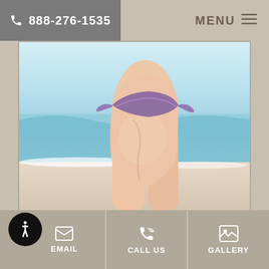888-276-1535  MENU
[Figure (photo): Woman in bikini at beach, side/rear view, ocean and sand in background]
Have you ever wished you could take some excess fat from one part of your body and move it to another part? Perhaps you would
EMAIL  CALL US  GALLERY